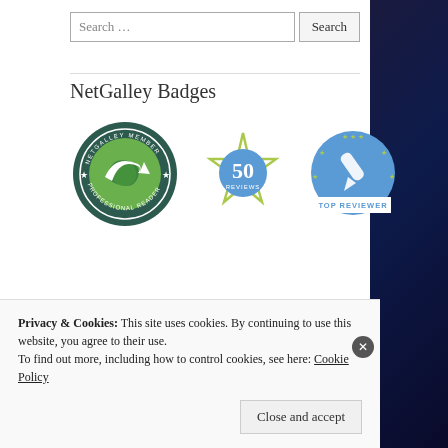Search …
NetGalley Badges
[Figure (logo): Three NetGalley badges: NetGalley Member Professional Reader circular green badge, 50 Reviews gold star-shaped badge in blue, and Top Reviewer circular blue badge with pen icon and stars]
Privacy & Cookies: This site uses cookies. By continuing to use this website, you agree to their use. To find out more, including how to control cookies, see here: Cookie Policy
Close and accept